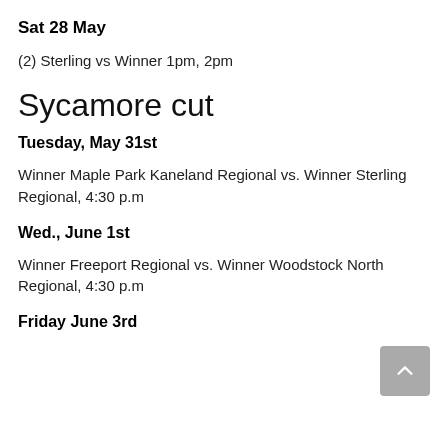Sat 28 May
(2) Sterling vs Winner 1pm, 2pm
Sycamore cut
Tuesday, May 31st
Winner Maple Park Kaneland Regional vs. Winner Sterling Regional, 4:30 p.m
Wed., June 1st
Winner Freeport Regional vs. Winner Woodstock North Regional, 4:30 p.m
Friday June 3rd